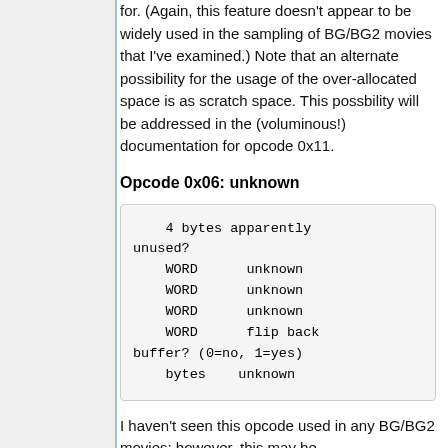for. (Again, this feature doesn't appear to be widely used in the sampling of BG/BG2 movies that I've examined.) Note that an alternate possibility for the usage of the over-allocated space is as scratch space. This possbility will be addressed in the (voluminous!) documentation for opcode 0x11.
Opcode 0x06: unknown
4 bytes apparently
unused?
    WORD      unknown
    WORD      unknown
    WORD      unknown
    WORD      flip back
buffer? (0=no, 1=yes)
    bytes    unknown
I haven't seen this opcode used in any BG/BG2 movies; however, this may be